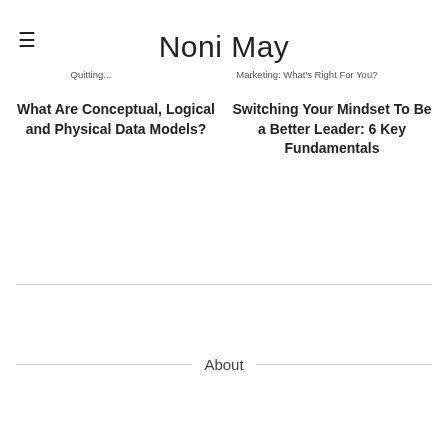Noni May
Quitting... | Marketing: What's Right For You?
What Are Conceptual, Logical and Physical Data Models?
Switching Your Mindset To Be a Better Leader: 6 Key Fundamentals
About